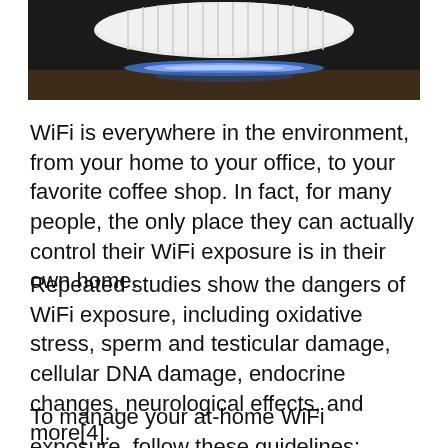[Figure (photo): A photo of a white WiFi router or fan device with blue LED light on a wooden surface, shown from above/side angle, partially cropped at the top of the page.]
WiFi is everywhere in the environment, from your home to your office, to your favorite coffee shop. In fact, for many people, the only place they can actually control their WiFi exposure is in their own home.
Repeated studies show the dangers of WiFi exposure, including oxidative stress, sperm and testicular damage, cellular DNA damage, endocrine changes, neurological effects, and more[4].
To manage your at-home WiFi exposure, follow these guidelines: